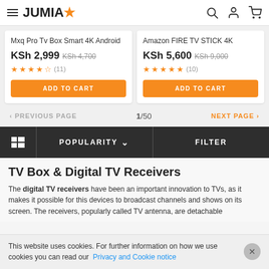JUMIA
Mxq Pro Tv Box Smart 4K Android
KSh 2,999 KSh 4,700
★★★★½ (11)
Amazon FIRE TV STICK 4K
KSh 5,600 KSh 9,000
★★★★★ (10)
< PREVIOUS PAGE  1/50  NEXT PAGE >
POPULARITY ∨   FILTER
TV Box & Digital TV Receivers
The digital TV receivers have been an important innovation to TVs, as it makes it possible for this devices to broadcast channels and shows on its screen. The receivers, popularly called TV antenna, are detachable...
This website uses cookies. For further information on how we use cookies you can read our Privacy and Cookie notice